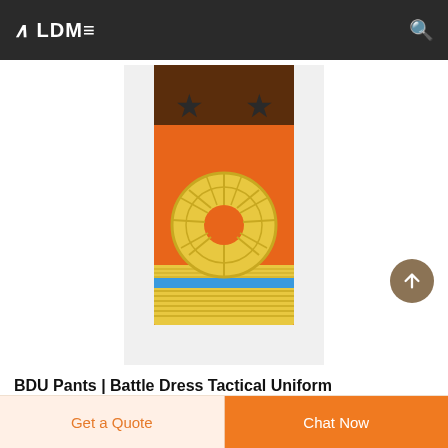ALDME
[Figure (photo): Military shoulder board/epaulette with orange/yellow fabric, sun emblem, blue stripe, and two dark stars above on brown background]
BDU Pants | Battle Dress Tactical Uniform Pants
Battle Dress Uniform (BDU) Pants are...
Get a Quote
Chat Now